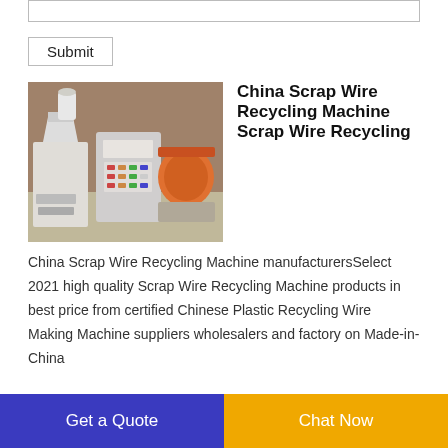[Figure (photo): Industrial scrap wire recycling machine with control panel, shredder, and other components, photographed in a factory setting.]
China Scrap Wire Recycling Machine Scrap Wire Recycling
China Scrap Wire Recycling Machine manufacturersSelect 2021 high quality Scrap Wire Recycling Machine products in best price from certified Chinese Plastic Recycling Wire Making Machine suppliers wholesalers and factory on Made-in-China
Get a Quote
Chat Now